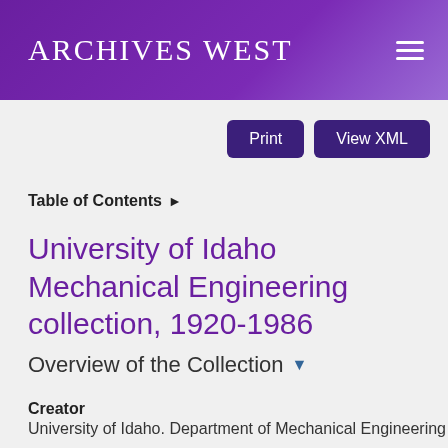Archives West
Print  View XML
Table of Contents ▶
University of Idaho Mechanical Engineering collection, 1920-1986
Overview of the Collection ▼
Creator
University of Idaho. Department of Mechanical Engineering